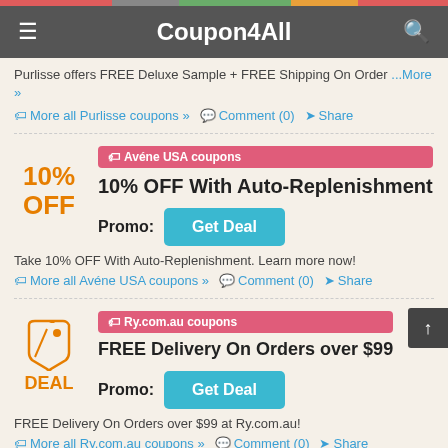Coupon4All
Purlisse offers FREE Deluxe Sample + FREE Shipping On Order ...More »
🏷More all Purlisse coupons » 💬 Comment (0) ➤ Share
[Figure (infographic): 10% OFF discount badge in orange text]
Avéne USA coupons
10% OFF With Auto-Replenishment
Promo: Get Deal
Take 10% OFF With Auto-Replenishment. Learn more now!
🏷More all Avéne USA coupons » 💬 Comment (0) ➤ Share
[Figure (infographic): Deal tag icon with DEAL text in orange]
Ry.com.au coupons
FREE Delivery On Orders over $99
Promo: Get Deal
FREE Delivery On Orders over $99 at Ry.com.au!
🏷More all Ry.com.au coupons » 💬 Comment (0) ➤ Share